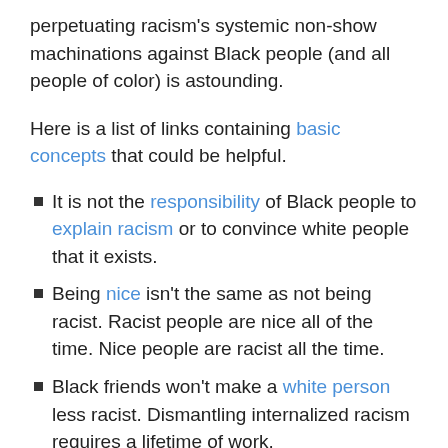perpetuating racism's systemic non-show machinations against Black people (and all people of color) is astounding.
Here is a list of links containing basic concepts that could be helpful.
It is not the responsibility of Black people to explain racism or to convince white people that it exists.
Being nice isn't the same as not being racist. Racist people are nice all of the time. Nice people are racist all the time.
Black friends won't make a white person less racist. Dismantling internalized racism requires a lifetime of work.
It should go without saying that Black people want equality. They don't want to reverse their treatment at the hands of white people back: